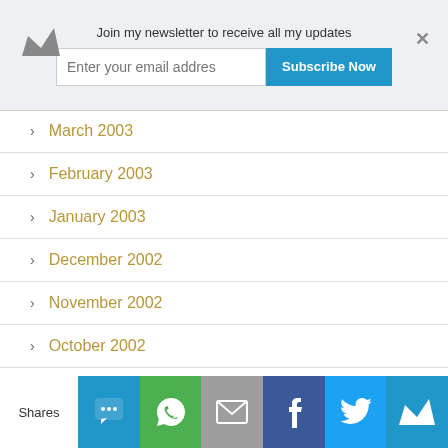Join my newsletter to receive all my updates
Enter your email addres
Subscribe Now
March 2003
February 2003
January 2003
December 2002
November 2002
October 2002
September 2002
August 2002
July 2002
June 2002
May 2002
Shares